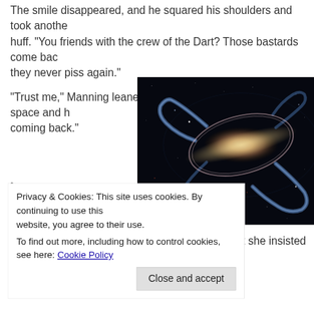The smile disappeared, and he squared his shoulders and took another huff. “You friends with the crew of the Dart? Those bastards come back they never piss again.”
“Trust me,” Manning leaned over the bar into his personal space and h coming back.”
[Figure (photo): Hubble Space Telescope image of a barred spiral galaxy against a black starfield, showing a bright central bar with blue spiral arms curling outward.]
•
Privacy & Cookies: This site uses cookies. By continuing to use this website, you agree to their use.
To find out more, including how to control cookies, see here: Cookie Policy
Close and accept
Sea of Death anyway. There’s nothing there. But she insisted there wa